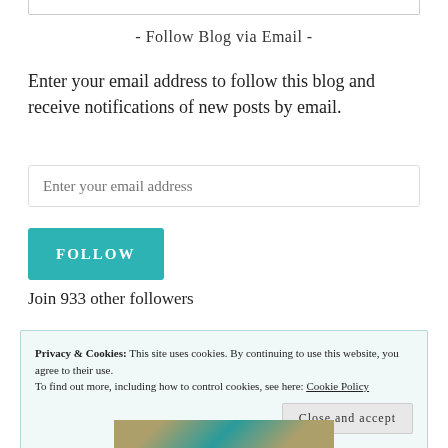- Follow Blog via Email -
Enter your email address to follow this blog and receive notifications of new posts by email.
Enter your email address
FOLLOW
Join 933 other followers
Privacy & Cookies: This site uses cookies. By continuing to use this website, you agree to their use.
To find out more, including how to control cookies, see here: Cookie Policy
Close and accept
[Figure (photo): Partial image visible at the bottom of the page showing a decorative or portrait image with gold and teal tones]